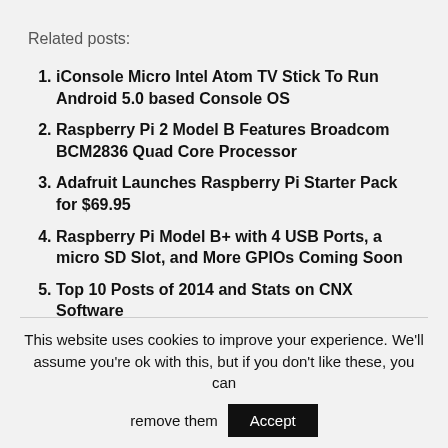Related posts:
iConsole Micro Intel Atom TV Stick To Run Android 5.0 based Console OS
Raspberry Pi 2 Model B Features Broadcom BCM2836 Quad Core Processor
Adafruit Launches Raspberry Pi Starter Pack for $69.95
Raspberry Pi Model B+ with 4 USB Ports, a micro SD Slot, and More GPIOs Coming Soon
Top 10 Posts of 2014 and Stats on CNX Software
This website uses cookies to improve your experience. We'll assume you're ok with this, but if you don't like these, you can remove them Accept